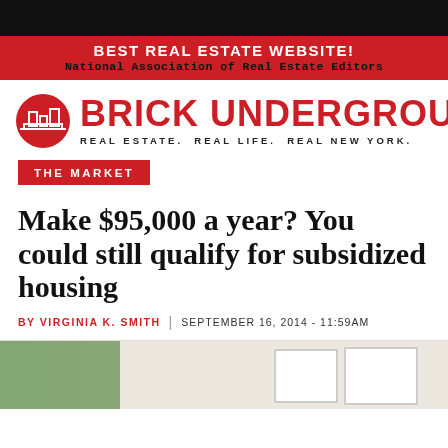BEST REAL ESTATE WEBSITE!
National Association of Real Estate Editors
BRICK UNDERGROUND
REAL ESTATE.  REAL LIFE.  REAL NEW YORK.
THE MARKET
Make $95,000 a year? You could still qualify for subsidized housing
BY VIRGINIA K. SMITH  |  SEPTEMBER 16, 2014 - 11:59AM
[Figure (photo): Interior room photo showing plants and framed artwork on wall]